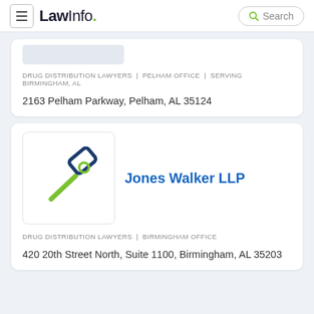LawInfo. Search
[Figure (logo): Placeholder logo box for law firm]
DRUG DISTRIBUTION LAWYERS | PELHAM OFFICE | SERVING BIRMINGHAM, AL
2163 Pelham Parkway, Pelham, AL 35124
[Figure (logo): Law firm gavel icon for Jones Walker LLP]
Jones Walker LLP
DRUG DISTRIBUTION LAWYERS | BIRMINGHAM OFFICE
420 20th Street North, Suite 1100, Birmingham, AL 35203